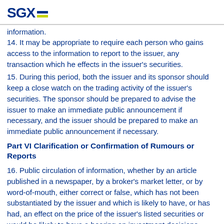SGX
information.
14. It may be appropriate to require each person who gains access to the information to report to the issuer, any transaction which he effects in the issuer's securities.
15. During this period, both the issuer and its sponsor should keep a close watch on the trading activity of the issuer's securities. The sponsor should be prepared to advise the issuer to make an immediate public announcement if necessary, and the issuer should be prepared to make an immediate public announcement if necessary.
Part VI Clarification or Confirmation of Rumours or Reports
16. Public circulation of information, whether by an article published in a newspaper, by a broker's market letter, or by word-of-mouth, either correct or false, which has not been substantiated by the issuer and which is likely to have, or has had, an effect on the price of the issuer's listed securities or would be likely to have a bearing on investment decisions